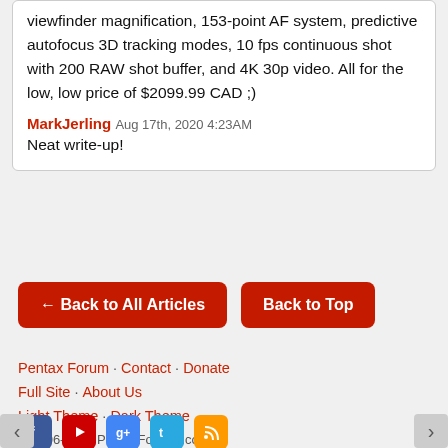For reference, the D500 has: 20.9 MP, 1.0x pentaprism viewfinder magnification, 153-point AF system, predictive autofocus 3D tracking modes, 10 fps continuous shot with 200 RAW shot buffer, and 4K 30p video. All for the low, low price of $2099.99 CAD ;)
MarkJerling Aug 17th, 2020 4:23AM
Neat write-up!
← Back to All Articles
Back to Top
Pentax Forum · Contact · Donate
Full Site · About Us
Light Theme · Dark Theme
© 2006-2022 PentaxForums.com